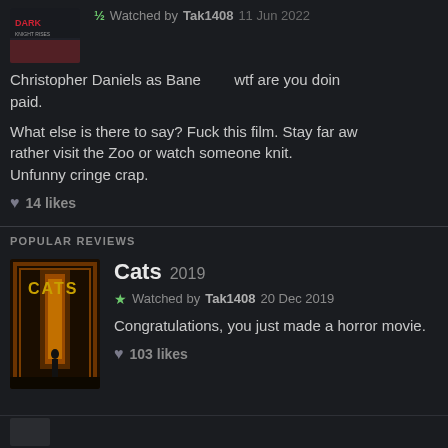½ Watched by Tak1408 11 Jun 2022
Christopher Daniels as Bane        wtf are you doin paid.
What else is there to say? Fuck this film. Stay far aw rather visit the Zoo or watch someone knit. Unfunny cringe crap.
14 likes
POPULAR REVIEWS
[Figure (photo): Cats 2019 movie poster showing silhouette in golden doorway]
Cats 2019
Watched by Tak1408 20 Dec 2019
Congratulations, you just made a horror movie.
103 likes